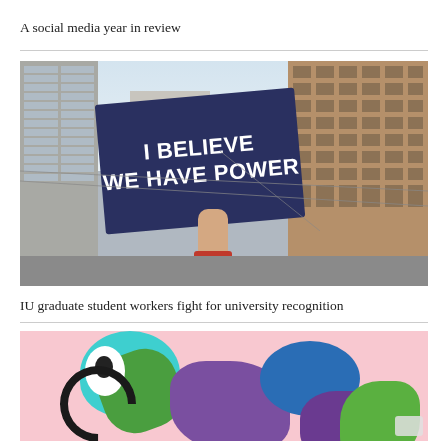A social media year in review
[Figure (photo): A hand holds a dark navy protest sign reading 'I BELIEVE WE HAVE POWER' in bold white text, against a backdrop of city buildings on a bright day.]
IU graduate student workers fight for university recognition
[Figure (illustration): A colorful cartoon illustration featuring stylized animated characters or creatures in teal, green, purple, and blue tones against a pink background.]